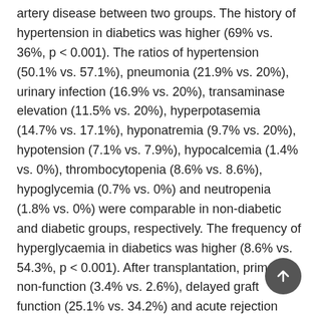artery disease between two groups. The history of hypertension in diabetics was higher (69% vs. 36%, p < 0.001). The ratios of hypertension (50.1% vs. 57.1%), pneumonia (21.9% vs. 20%), urinary infection (16.9% vs. 20%), transaminase elevation (11.5% vs. 20%), hyperpotasemia (14.7% vs. 17.1%), hyponatremia (9.7% vs. 20%), hypotension (7.1% vs. 7.9%), hypocalcemia (1.4% vs. 0%), thrombocytopenia (8.6% vs. 8.6%), hypoglycemia (0.7% vs. 0%) and neutropenia (1.8% vs. 0%) were comparable in non-diabetic and diabetic groups, respectively. The frequency of hyperglycaemia in diabetics was higher (8.6% vs. 54.3%, p < 0.001). After transplantation, primary non-function (3.4% vs. 2.6%), delayed graft function (25.1% vs. 34.2%) and acute rejection (7.3% vs. 10.5%) ratios of in non-diabetic and diabetic groups were similar, respectively. Hospitalization durations in non-diabetics and diabetics were 22.5 ± 17.5 and 18.7 ± 13